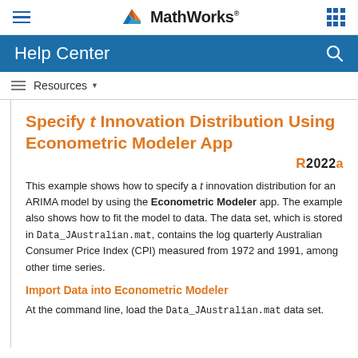MathWorks Help Center
Specify t Innovation Distribution Using Econometric Modeler App
This example shows how to specify a t innovation distribution for an ARIMA model by using the Econometric Modeler app. The example also shows how to fit the model to data. The data set, which is stored in Data_JAustralian.mat, contains the log quarterly Australian Consumer Price Index (CPI) measured from 1972 and 1991, among other time series.
Import Data into Econometric Modeler
At the command line, load the Data_JAustralian.mat data set.